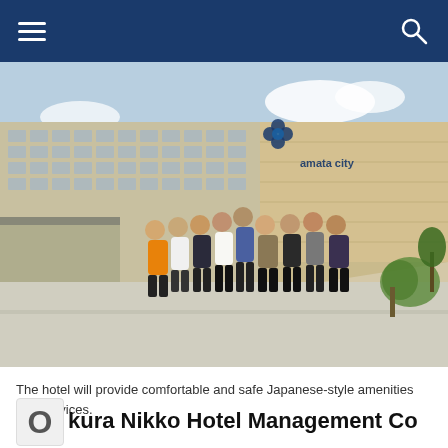Navigation bar with hamburger menu and search icon
[Figure (photo): Group of approximately 9 hotel staff members posing in front of Hotel Nikko Amata City building exterior. The building is a modern high-rise with a large sign reading 'amata city'. People are dressed in various uniforms and casual clothing. Sunny day with some greenery visible.]
The hotel will provide comfortable and safe Japanese-style amenities and services.
Okura Nikko Hotel Management Co Ltd will open the Hotel Nikko Amata City Chonburi on June 1 located in